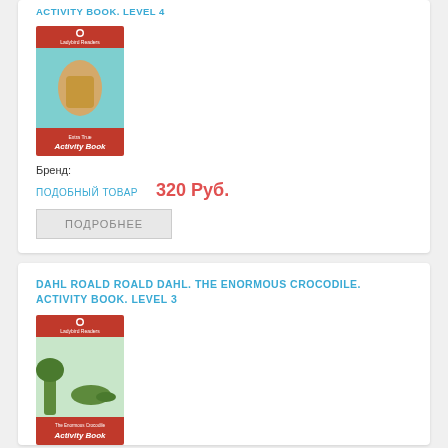ACTIVITY BOOK. LEVEL 4
[Figure (illustration): Book cover: Roald Dahl Activity Book with illustrated character, red top and bottom, teal middle section. Ladybird Readers logo at top.]
Бренд:
ПОДОБНЫЙ ТОВАР
320 Руб.
ПОДРОБНЕЕ
DAHL ROALD ROALD DAHL. THE ENORMOUS CROCODILE. ACTIVITY BOOK. LEVEL 3
[Figure (illustration): Book cover: The Enormous Crocodile Activity Book, Roald Dahl. Red top and bottom, illustrated crocodile. Ladybird Readers logo at top.]